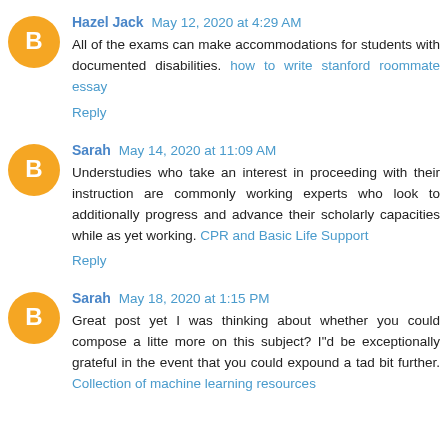Hazel Jack May 12, 2020 at 4:29 AM
All of the exams can make accommodations for students with documented disabilities. how to write stanford roommate essay
Reply
Sarah May 14, 2020 at 11:09 AM
Understudies who take an interest in proceeding with their instruction are commonly working experts who look to additionally progress and advance their scholarly capacities while as yet working. CPR and Basic Life Support
Reply
Sarah May 18, 2020 at 1:15 PM
Great post yet I was thinking about whether you could compose a litte more on this subject? I"d be exceptionally grateful in the event that you could expound a tad bit further. Collection of machine learning resources